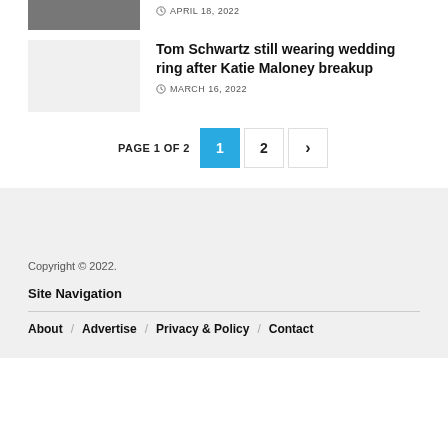APRIL 18, 2022
Tom Schwartz still wearing wedding ring after Katie Maloney breakup
MARCH 16, 2022
PAGE 1 OF 2   1   2   >
Copyright © 2022.
Site Navigation
About / Advertise / Privacy & Policy / Contact